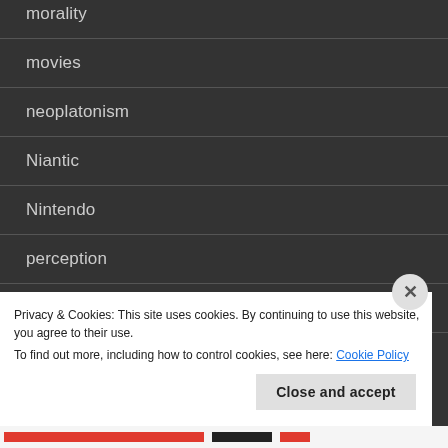morality
movies
neoplatonism
Niantic
Nintendo
perception
philosophy of prayer
Privacy & Cookies: This site uses cookies. By continuing to use this website, you agree to their use. To find out more, including how to control cookies, see here: Cookie Policy
Close and accept